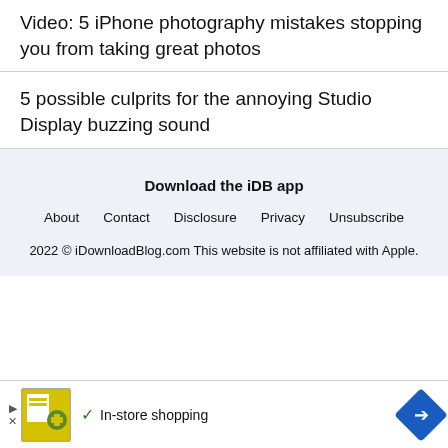Video: 5 iPhone photography mistakes stopping you from taking great photos
5 possible culprits for the annoying Studio Display buzzing sound
Download the iDB app
About   Contact   Disclosure   Privacy   Unsubscribe
2022 © iDownloadBlog.com This website is not affiliated with Apple.
[Figure (other): Advertisement banner: Lidl logo with grocery bag image, checkmark with 'In-store shopping' text, blue diamond arrow icon]